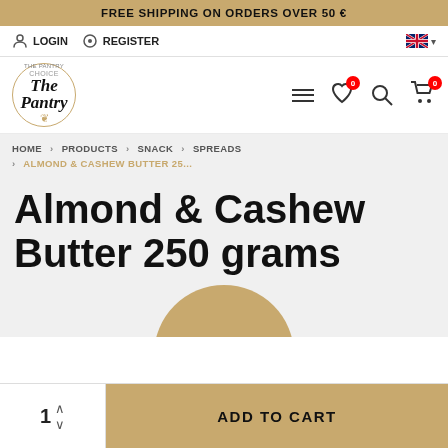FREE SHIPPING ON ORDERS OVER 50 €
LOGIN   REGISTER
[Figure (logo): The Pantry logo — circular logo with wheat decoration]
Navigation icons: hamburger menu, wishlist (0), search, cart (0)
HOME > PRODUCTS > SNACK > SPREADS > ALMOND & CASHEW BUTTER 25...
Almond & Cashew Butter 250 grams
[Figure (photo): Partial view of product jar, top arc visible]
1   ADD TO CART